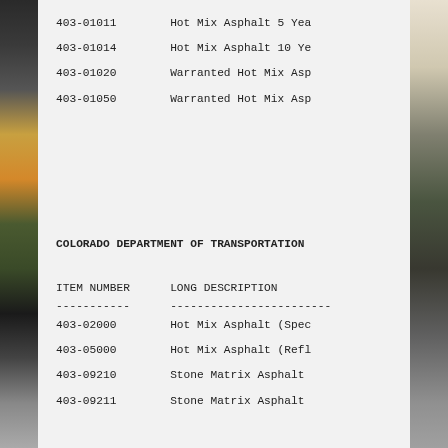| ITEM NUMBER | LONG DESCRIPTION |
| --- | --- |
| 403-01011 | Hot Mix Asphalt 5 Yea... |
| 403-01014 | Hot Mix Asphalt 10 Yea... |
| 403-01020 | Warranted Hot Mix Asph... |
| 403-01050 | Warranted Hot Mix Asph... |
COLORADO DEPARTMENT OF TRANSPORTATION
| ITEM NUMBER | LONG DESCRIPTION |
| --- | --- |
| 403-02000 | Hot Mix Asphalt (Spec... |
| 403-05000 | Hot Mix Asphalt (Refl... |
| 403-09210 | Stone Matrix Asphalt |
| 403-09211 | Stone Matrix Asphalt... |